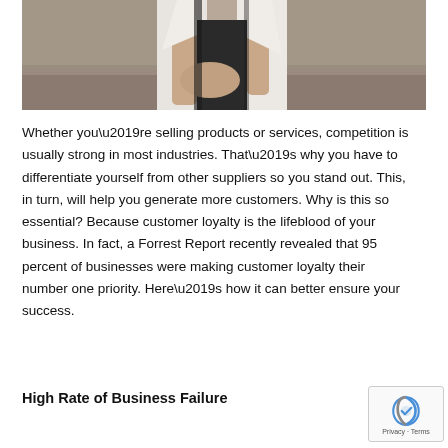[Figure (photo): Photo of a person from waist up, wearing a black top and white jacket/coat, standing outdoors with arms crossed, photographed from approximately chest level down.]
Whether you’re selling products or services, competition is usually strong in most industries. That’s why you have to differentiate yourself from other suppliers so you stand out. This, in turn, will help you generate more customers. Why is this so essential? Because customer loyalty is the lifeblood of your business. In fact, a Forrest Report recently revealed that 95 percent of businesses were making customer loyalty their number one priority. Here’s how it can better ensure your success.
High Rate of Business Failure